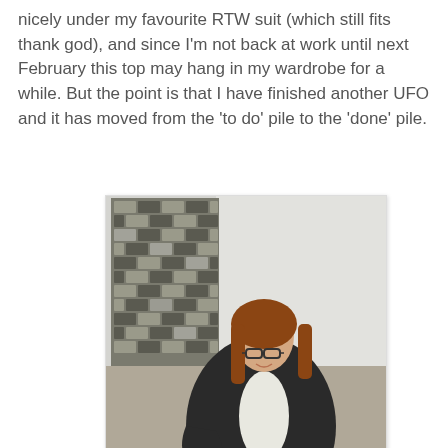nicely under my favourite RTW suit (which still fits thank god), and since I'm not back at work until next February this top may hang in my wardrobe for a while. But the point is that I have finished another UFO and it has moved from the 'to do' pile to the 'done' pile.
[Figure (photo): A woman with red hair and glasses wearing a white top and black blazer, standing in front of a decorative basket-weave wall hanging and a white wall.]